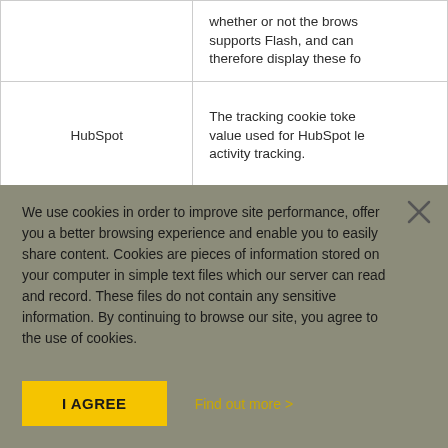|  | Description |
| --- | --- |
|  | whether or not the browser supports Flash, and can therefore display these fo... |
| HubSpot | The tracking cookie token value used for HubSpot le... activity tracking. |
We use cookies in order to improve site performance, offer you a better browsing experience and enable you to easily share content. Cookies are pieces of information stored on your computer in simple text files which our server can read and record. These files do not contain any sensitive information. By continuing to browse our site, you agree to the use of cookies.